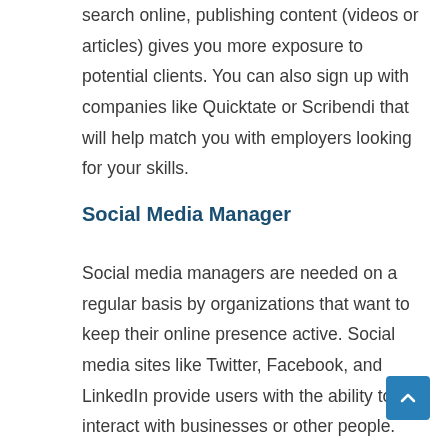People looking for freelance proofreading services search online, publishing content (videos or articles) gives you more exposure to potential clients. You can also sign up with companies like Quicktate or Scribendi that will help match you with employers looking for your skills.
Social Media Manager
Social media managers are needed on a regular basis by organizations that want to keep their online presence active. Social media sites like Twitter, Facebook, and LinkedIn provide users with the ability to interact with businesses or other people. This can be valuable for companies because they can promote